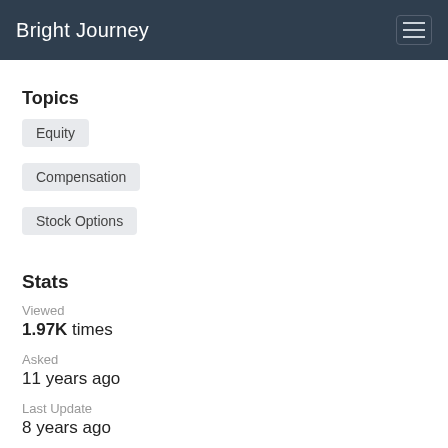Bright Journey
Topics
Equity
Compensation
Stock Options
Stats
Viewed
1.97K times
Asked
11 years ago
Last Update
8 years ago